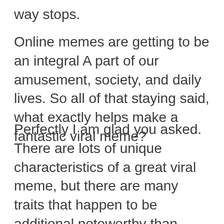way stops.
Online memes are getting to be an integral A part of our amusement, society, and daily lives. So all of that staying said, what exactly helps make a fantastic viral meme?
Perfectly I am glad you asked. There are lots of unique characteristics of a great viral meme, but there are many traits that happen to be additional noteworthy than others. Most notably a viral meme ought to hook you emotionally in some kind of way. That's not to state that it must be unhappy